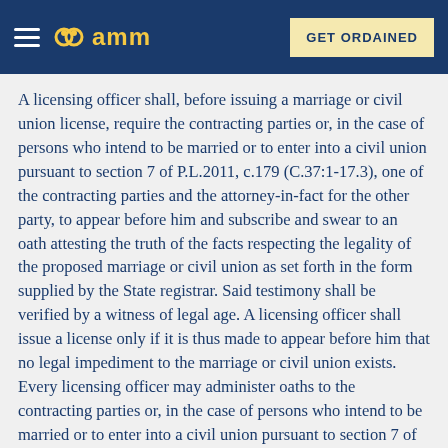AMM — GET ORDAINED
A licensing officer shall, before issuing a marriage or civil union license, require the contracting parties or, in the case of persons who intend to be married or to enter into a civil union pursuant to section 7 of P.L.2011, c.179 (C.37:1-17.3), one of the contracting parties and the attorney-in-fact for the other party, to appear before him and subscribe and swear to an oath attesting the truth of the facts respecting the legality of the proposed marriage or civil union as set forth in the form supplied by the State registrar. Said testimony shall be verified by a witness of legal age. A licensing officer shall issue a license only if it is thus made to appear before him that no legal impediment to the marriage or civil union exists. Every licensing officer may administer oaths to the contracting parties or, in the case of persons who intend to be married or to enter into a civil union pursuant to section 7 of P.L.2011, c.179 (C.37:1-17.3), to one of the contracting parties and to the attorney-in-fact for the other contracting party and their identifying witness